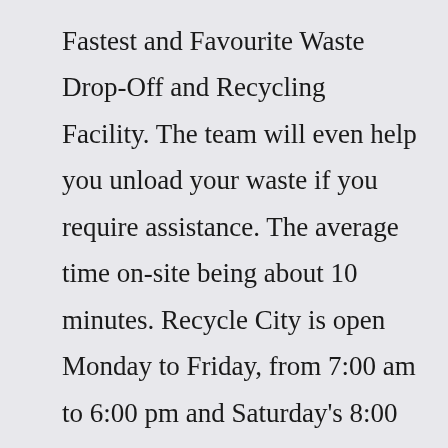Fastest and Favourite Waste Drop-Off and Recycling Facility. The team will even help you unload your waste if you require assistance. The average time on-site being about 10 minutes. Recycle City is open Monday to Friday, from 7:00 am to 6:00 pm and Saturday's 8:00 am to 5:00 pm. Learn about Regina's waste and recycling programs in a fun way with our brand new Recycle the right stuff waste sorting game.